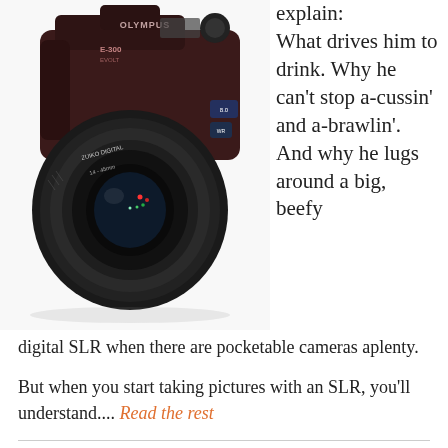[Figure (photo): Olympus E-300 EVOLT digital SLR camera with a zoom lens, dark brown/black body, viewed from front-left angle]
explain: What drives him to drink. Why he can't stop a-cussin' and a-brawlin'. And why he lugs around a big, beefy digital SLR when there are pocketable cameras aplenty.
But when you start taking pictures with an SLR, you'll understand.... Read the rest
Goodbye to cheap oil, and all